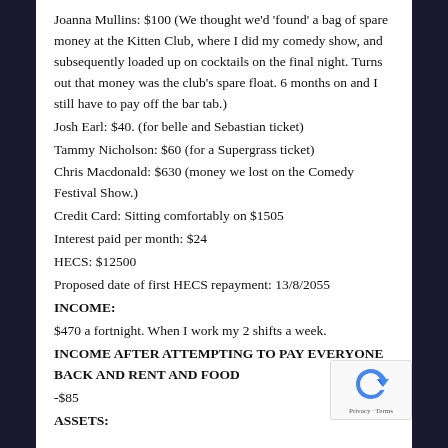Joanna Mullins: $100 (We thought we'd 'found' a bag of spare money at the Kitten Club, where I did my comedy show, and subsequently loaded up on cocktails on the final night. Turns out that money was the club's spare float. 6 months on and I still have to pay off the bar tab.)
Josh Earl: $40. (for belle and Sebastian ticket)
Tammy Nicholson: $60 (for a Supergrass ticket)
Chris Macdonald: $630 (money we lost on the Comedy Festival Show.)
Credit Card: Sitting comfortably on $1505
Interest paid per month: $24
HECS: $12500
Proposed date of first HECS repayment: 13/8/2055
INCOME:
$470 a fortnight. When I work my 2 shifts a week.
INCOME AFTER ATTEMPTING TO PAY EVERYONE BACK AND RENT AND FOOD
-$85
ASSETS: